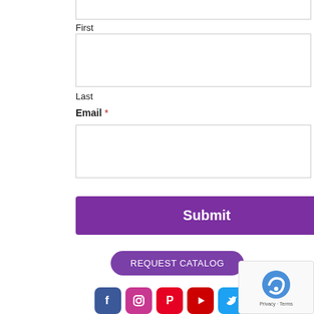First
[Figure (other): Empty text input field for First name]
Last
Email *
[Figure (other): Empty text input field for Email]
Submit
REQUEST CATALOG
[Figure (other): Social media icons: Facebook, Instagram, Pinterest, YouTube, Twitter]
[Figure (other): reCAPTCHA badge with Privacy and Terms links]